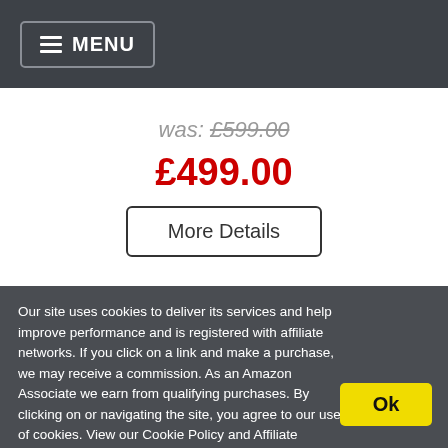≡ MENU
was: £599.00
£499.00
More Details
Our site uses cookies to deliver its services and help improve performance and is registered with affiliate networks. If you click on a link and make a purchase, we may receive a commission. As an Amazon Associate we earn from qualifying purchases. By clicking on or navigating the site, you agree to our use of cookies. View our Cookie Policy and Affiliate Disclosure
Ok